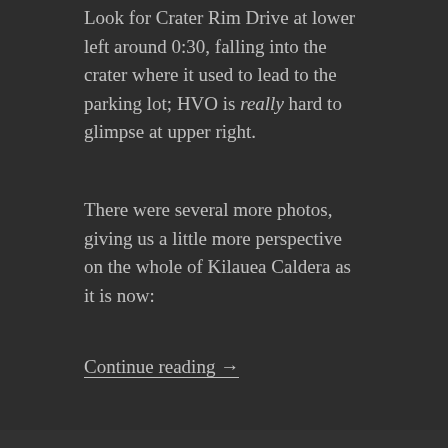Look for Crater Rim Drive at lower left around 0:30, falling into the crater where it used to lead to the parking lot; HVO is really hard to glimpse at upper right.
There were several more photos, giving us a little more perspective on the whole of Kilauea Caldera as it is now:
Continue reading →
Posted on July 25, 2018   Categories Daily Roundup, Information   Tags bruce omori, fissure 8, g brad lewis, lava flow, mick kalber, overflight, pohoiki, summit collapse
July 23: Pohoiki Going Tonight (I Think)